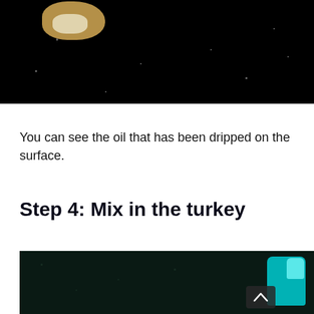[Figure (photo): Dark background photo showing a food item (fried/cooked piece) with oil drips visible on a dark surface]
You can see the oil that has been dripped on the surface.
Step 4: Mix in the turkey
[Figure (photo): Dark background photo showing a cooking scene with teal/cyan colored object (possibly a spatula or container) visible at the right edge, with a scroll-up navigation button in the lower right corner]